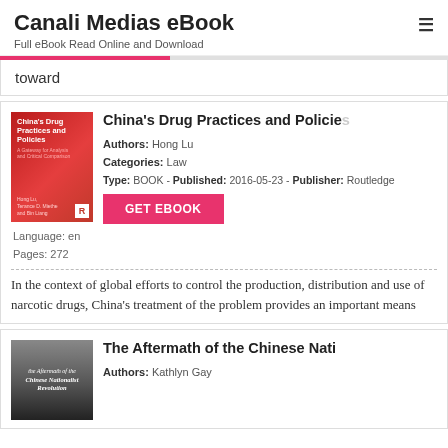Canali Medias eBook
Full eBook Read Online and Download
toward
China's Drug Practices and Policies
Authors: Hong Lu
Categories: Law
Type: BOOK - Published: 2016-05-23 - Publisher: Routledge
Language: en
Pages: 272
In the context of global efforts to control the production, distribution and use of narcotic drugs, China's treatment of the problem provides an important means
The Aftermath of the Chinese Nationalist Revolution
Authors: Kathlyn Gay